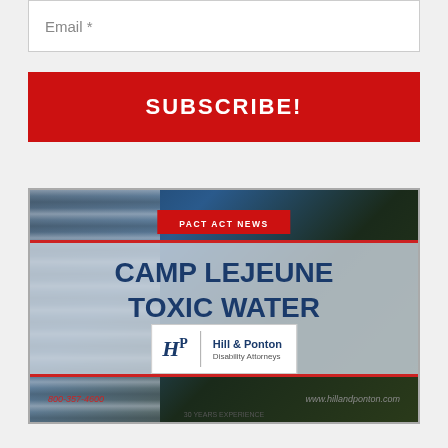Email *
SUBSCRIBE!
[Figure (illustration): Advertisement for Hill & Ponton Disability Attorneys showing Camp Lejeune Toxic Water Lawsuits with PACT Act News banner, corrugated metal pipe background, and law firm logo with phone number 800-357-4600 and website www.hillandponton.com]